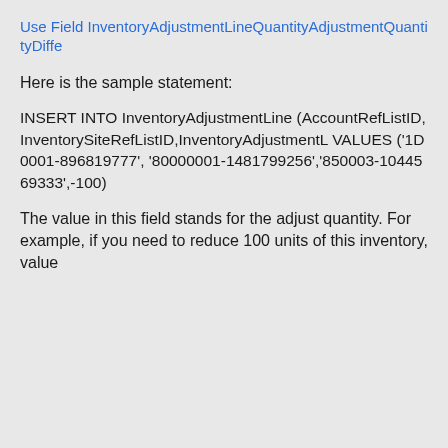Use Field InventoryAdjustmentLineQuantityAdjustmentQuantityDiffe
Here is the sample statement:
INSERT INTO InventoryAdjustmentLine (AccountRefListID, InventorySiteRefListID,InventoryAdjustmentL VALUES ('1D0001-896819777', '80000001-1481799256','850003-1044569333',-100)
The value in this field stands for the adjust quantity. For example, if you need to reduce 100 units of this inventory, value